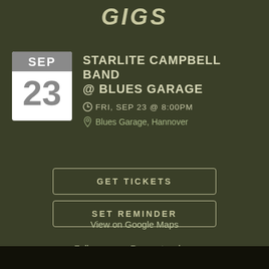GIGS
STARLITE CAMPBELL BAND @ BLUES GARAGE
FRI, SEP 23 @ 8:00PM
Blues Garage, Hannover
GET TICKETS
SET REMINDER
View on Google Maps
Follow us   Request a show